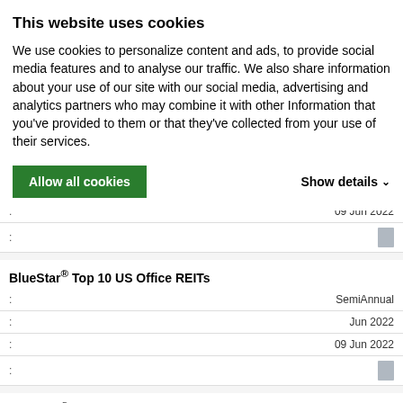This website uses cookies
We use cookies to personalize content and ads, to provide social media features and to analyse our traffic. We also share information about your use of our site with our social media, advertising and analytics partners who may combine it with other Information that you've provided to them or that they've collected from your use of their services.
Allow all cookies
Show details
| : | 09 Jun 2022 |
| : |  |
BlueStar® Top 10 US Office REITs
| : | SemiAnnual |
| : | Jun 2022 |
| : | 09 Jun 2022 |
| : |  |
BlueStar® Top 10 US Residential Real Estate
| : | SemiAnnual |